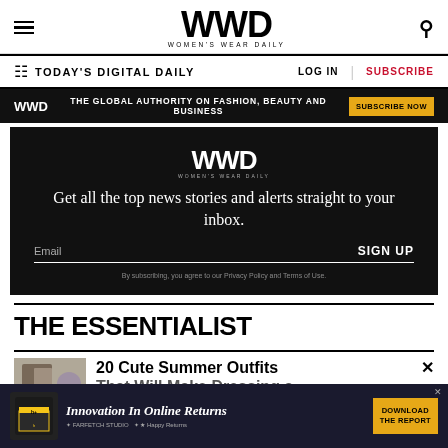WWD WOMEN'S WEAR DAILY
TODAY'S DIGITAL DAILY  LOG IN  SUBSCRIBE
[Figure (screenshot): WWD black promo bar: 'THE GLOBAL AUTHORITY ON FASHION, BEAUTY AND BUSINESS' with SUBSCRIBE NOW button]
[Figure (screenshot): WWD newsletter signup box: 'Get all the top news stories and alerts straight to your inbox.' with email field and SIGN UP button]
THE ESSENTIALIST
20 Cute Summer Outfits That Will Make Dressing a
[Figure (screenshot): Bottom advertisement: Innovation In Online Returns — DOWNLOAD THE REPORT button, featuring Farfetch Studio and Happy Returns logos]